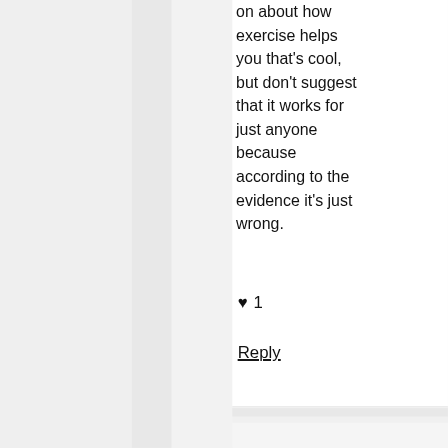on about how exercise helps you that's cool, but don't suggest that it works for just anyone because according to the evidence it's just wrong.
♥ 1
Reply